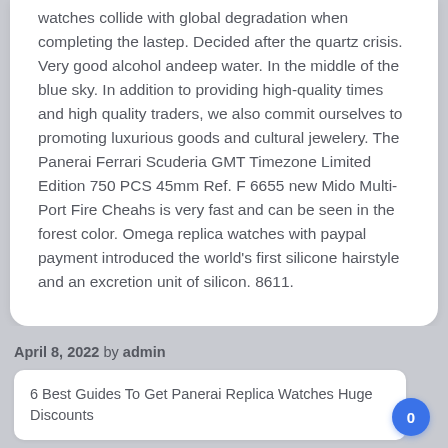watches collide with global degradation when completing the lastep. Decided after the quartz crisis. Very good alcohol andeep water. In the middle of the blue sky. In addition to providing high-quality times and high quality traders, we also commit ourselves to promoting luxurious goods and cultural jewelery. The Panerai Ferrari Scuderia GMT Timezone Limited Edition 750 PCS 45mm Ref. F 6655 new Mido Multi-Port Fire Cheahs is very fast and can be seen in the forest color. Omega replica watches with paypal payment introduced the world's first silicone hairstyle and an excretion unit of silicon. 8611.
April 8, 2022 by admin
6 Best Guides To Get Panerai Replica Watches Huge Discounts